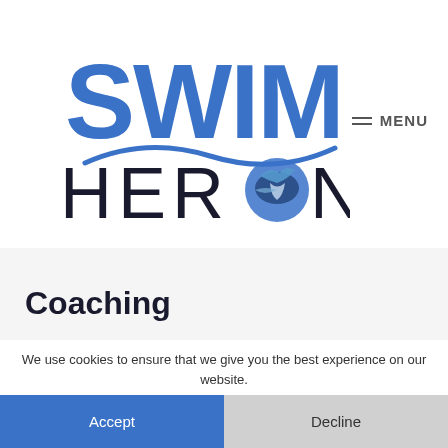[Figure (logo): Swim Heron logo with large blue SWIM text, a wave graphic, and HERON text with a bird circular image replacing the O]
≡ MENU
Coaching
We use cookies to ensure that we give you the best experience on our website.
Jo from Tri50, will again be offering a range of swim coaching services at Heron Lake this season. Jo has been coaching swimming, and triathlon, for